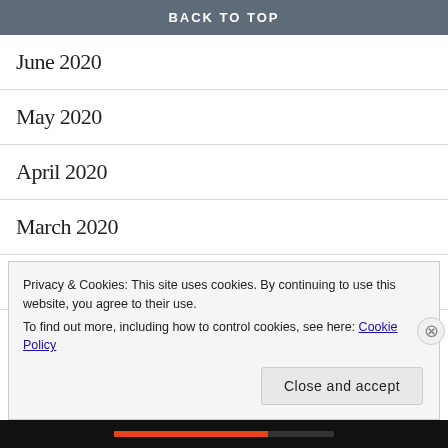BACK TO TOP
June 2020
May 2020
April 2020
March 2020
February 2020
January 2020
Privacy & Cookies: This site uses cookies. By continuing to use this website, you agree to their use.
To find out more, including how to control cookies, see here: Cookie Policy
Close and accept